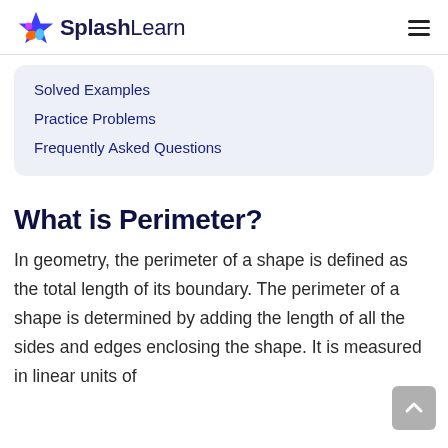SplashLearn
Solved Examples
Practice Problems
Frequently Asked Questions
What is Perimeter?
In geometry, the perimeter of a shape is defined as the total length of its boundary. The perimeter of a shape is determined by adding the length of all the sides and edges enclosing the shape. It is measured in linear units of